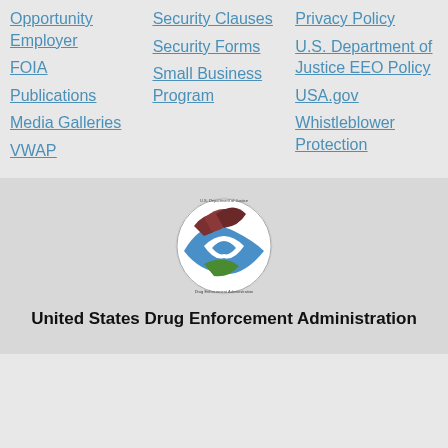Opportunity Employer
FOIA
Publications
Media Galleries
VWAP
Security Clauses
Security Forms
Small Business Program
Privacy Policy
U.S. Department of Justice EEO Policy
USA.gov
Whistleblower Protection
[Figure (logo): DEA circular seal logo — U.S. Department of Justice Drug Enforcement Administration]
United States Drug Enforcement Administration